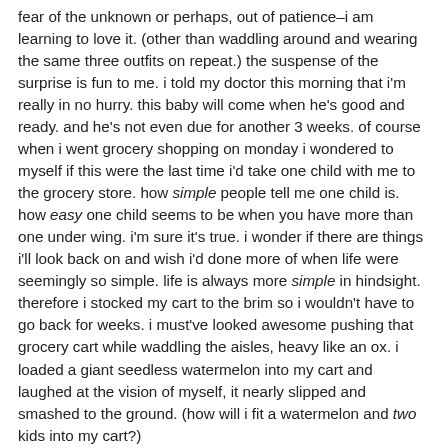fear of the unknown or perhaps, out of patience–I am learning to love it. (other than waddling around and wearing the same three outfits on repeat.) the suspense of the surprise is fun to me. i told my doctor this morning that i'm really in no hurry. this baby will come when he's good and ready. and he's not even due for another 3 weeks. of course when i went grocery shopping on monday i wondered to myself if this were the last time i'd take one child with me to the grocery store. how simple people tell me one child is. how easy one child seems to be when you have more than one under wing. i'm sure it's true. i wonder if there are things i'll look back on and wish i'd done more of when life were seemingly so simple. life is always more simple in hindsight. therefore i stocked my cart to the brim so i wouldn't have to go back for weeks. i must've looked awesome pushing that grocery cart while waddling the aisles, heavy like an ox. i loaded a giant seedless watermelon into my cart and laughed at the vision of myself, it nearly slipped and smashed to the ground. (how will i fit a watermelon and two kids into my cart?)

our first is almost four years old. and he has come into his